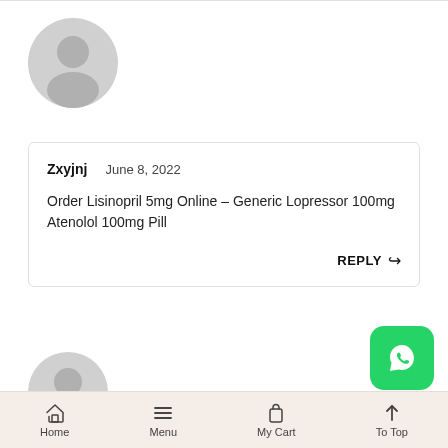[Figure (illustration): Gray default user avatar (circle with person silhouette) above comment card]
Zxyjnj   June 8, 2022
Order Lisinopril 5mg Online – Generic Lopressor 100mg Atenolol 100mg Pill
REPLY
[Figure (illustration): Gray default user avatar (circle with person silhouette) below comment card]
[Figure (logo): WhatsApp green button icon in bottom right]
Home   Menu   My Cart   To Top